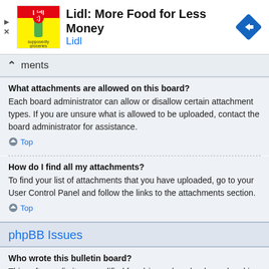[Figure (screenshot): Lidl advertisement banner with logo, title 'Lidl: More Food for Less Money', subtitle 'Lidl', and a blue diamond navigation arrow icon. Play and close controls on the left.]
ments
What attachments are allowed on this board?
Each board administrator can allow or disallow certain attachment types. If you are unsure what is allowed to be uploaded, contact the board administrator for assistance.
Top
How do I find all my attachments?
To find your list of attachments that you have uploaded, go to your User Control Panel and follow the links to the attachments section.
Top
phpBB Issues
Who wrote this bulletin board?
This software (in its unmodified form) is produced, released and is copyright phpBB Limited. It is made available under the GNU General Public License.